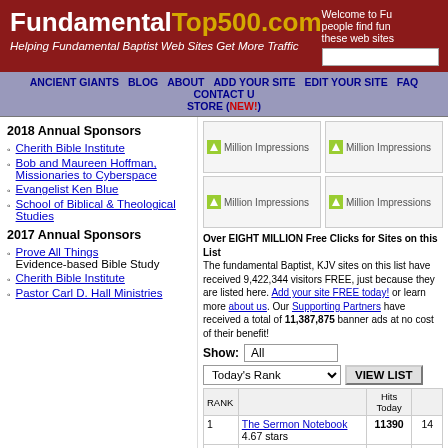FundamentalTop500.com - Helping Fundamental Baptist Web Sites Get More Traffic
Welcome to Fu... people find fun... these web sites...
ANCIENT GIANTS  BLOG  ABOUT  ADD YOUR SITE  EDIT YOUR SITE  FAQ  CONTACT U  STORE (NEW!)
2018 Annual Sponsors
Cherith Bible Institute
Bob and Maureen Hoffman, Missionaries to Cyberspace
Evangelist Ken Blue
School of Biblical & Theological Studies
2017 Annual Sponsors
Prove All Things - Evidence-based Bible Study
Cherith Bible Institute
Pastor Carl D. Hall Ministries
[Figure (other): Million Impressions ad banner - top left]
[Figure (other): Million Impressions ad banner - top right]
[Figure (other): Million Impressions ad banner - bottom left]
[Figure (other): Million Impressions ad banner - bottom right]
Over EIGHT MILLION Free Clicks for Sites on this List. The fundamental Baptist, KJV sites on this list have received 9,422,344 visitors FREE, just because they are listed here. Add your site FREE today! or learn more about us. Our Supporting Partners have received a total of 11,387,875 banner ads at no cost of their benefit!
| RANK |  | Hits Today |  |
| --- | --- | --- | --- |
| 1 | The Sermon Notebook 4.67 stars | 11390 | 14 |
| 2 | Jesus Christ is the Only Way to Heaven! | 909 | 14 |
| 3 | The Preachers Corner Org. | 727 | 75 |